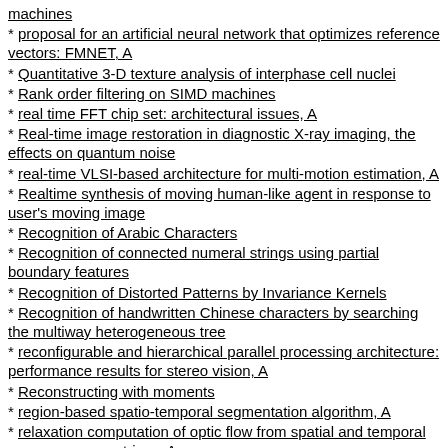machines
* proposal for an artificial neural network that optimizes reference vectors: FMNET, A
* Quantitative 3-D texture analysis of interphase cell nuclei
* Rank order filtering on SIMD machines
* real time FFT chip set: architectural issues, A
* Real-time image restoration in diagnostic X-ray imaging, the effects on quantum noise
* real-time VLSI-based architecture for multi-motion estimation, A
* Realtime synthesis of moving human-like agent in response to user's moving image
* Recognition of Arabic Characters
* Recognition of connected numeral strings using partial boundary features
* Recognition of Distorted Patterns by Invariance Kernels
* Recognition of handwritten Chinese characters by searching the multiway heterogeneous tree
* reconfigurable and hierarchical parallel processing architecture: performance results for stereo vision, A
* Reconstructing with moments
* region-based spatio-temporal segmentation algorithm, A
* relaxation computation of optic flow from spatial and temporal cooccurrence matrices, A
* remanent noise problem with the median filter, A
* Restoration of binary and gray-scale images using the